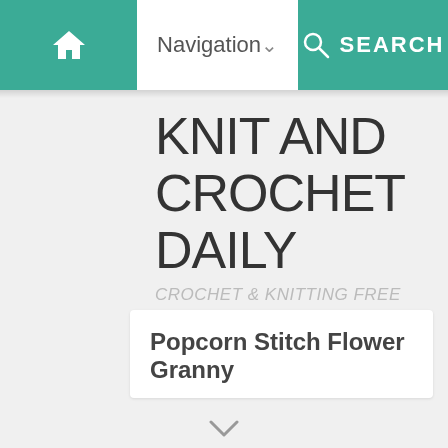[Figure (screenshot): Navigation bar with home icon, Navigation dropdown, and Search button on teal background]
KNIT AND CROCHET DAILY
CROCHET & KNITTING FREE PATTERNS- DAILY INSPIRATION
Popcorn Stitch Flower Granny